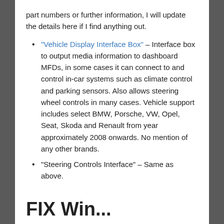part numbers or further information, I will update the details here if I find anything out.
"Vehicle Display Interface Box" – Interface box to output media information to dashboard MFDs, in some cases it can connect to and control in-car systems such as climate control and parking sensors. Also allows steering wheel controls in many cases. Vehicle support includes select BMW, Porsche, VW, Opel, Seat, Skoda and Renault from year approximately 2008 onwards. No mention of any other brands.
"Steering Controls Interface" – Same as above.
FIX Win...